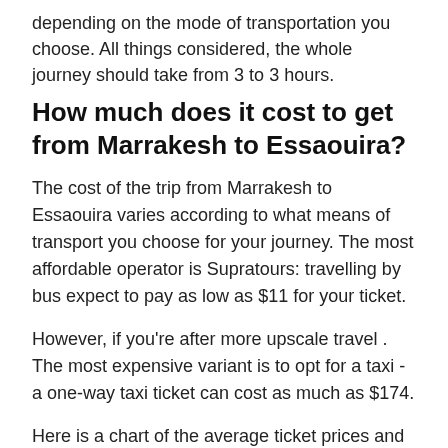depending on the mode of transportation you choose. All things considered, the whole journey should take from 3 to 3 hours.
How much does it cost to get from Marrakesh to Essaouira?
The cost of the trip from Marrakesh to Essaouira varies according to what means of transport you choose for your journey. The most affordable operator is Supratours: travelling by bus expect to pay as low as $11 for your ticket.
However, if you're after more upscale travel . The most expensive variant is to opt for a taxi - a one-way taxi ticket can cost as much as $174.
Here is a chart of the average ticket prices and transportation options available from Marrakesh to Essaouira:
Bus tickets - $11 to $13;